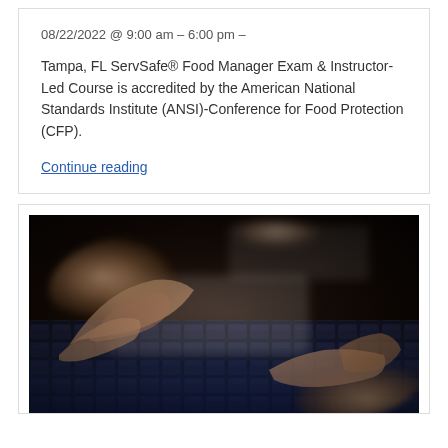08/22/2022 @ 9:00 am – 6:00 pm –
Tampa, FL ServSafe® Food Manager Exam & Instructor-Led Course is accredited by the American National Standards Institute (ANSI)-Conference for Food Protection (CFP).
Continue reading
[Figure (photo): Close-up photo of hands typing on a dark backlit keyboard]